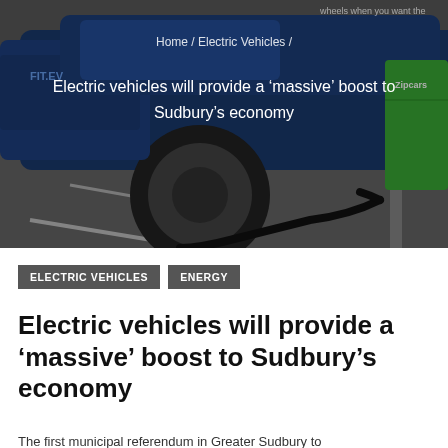[Figure (photo): A blue electric vehicle plugged into a green Zipcar charging station in a parking area, with a black charging cable running along the ground. Text overlay shows breadcrumb navigation and article title.]
Home / Electric Vehicles /
Electric vehicles will provide a ‘massive’ boost to Sudbury’s economy
ELECTRIC VEHICLES   ENERGY
Electric vehicles will provide a ‘massive’ boost to Sudbury’s economy
The first municipal referendum in Greater Sudbury to...